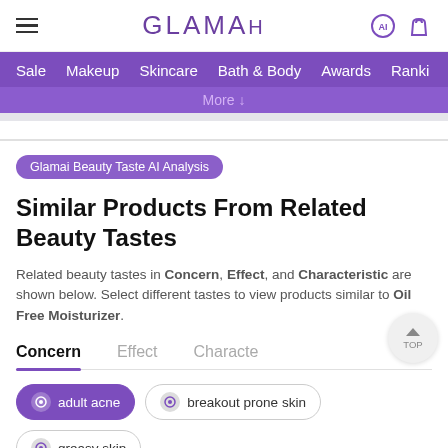GLAMAI
Sale  Makeup  Skincare  Bath & Body  Awards  Ranki
More ↓
Glamai Beauty Taste AI Analysis
Similar Products From Related Beauty Tastes
Related beauty tastes in Concern, Effect, and Characteristic are shown below. Select different tastes to view products similar to Oil Free Moisturizer.
Concern	Effect	Characte
adult acne
breakout prone skin
greasy skin
breakout